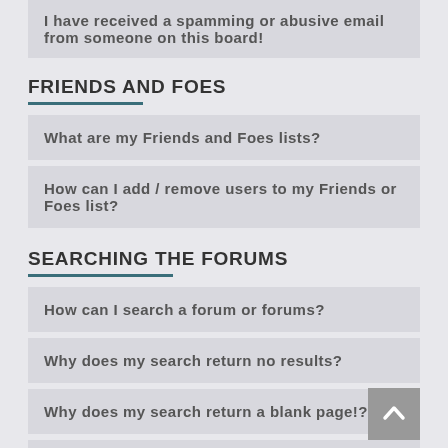I have received a spamming or abusive email from someone on this board!
FRIENDS AND FOES
What are my Friends and Foes lists?
How can I add / remove users to my Friends or Foes list?
SEARCHING THE FORUMS
How can I search a forum or forums?
Why does my search return no results?
Why does my search return a blank page!?
How do I search for members?